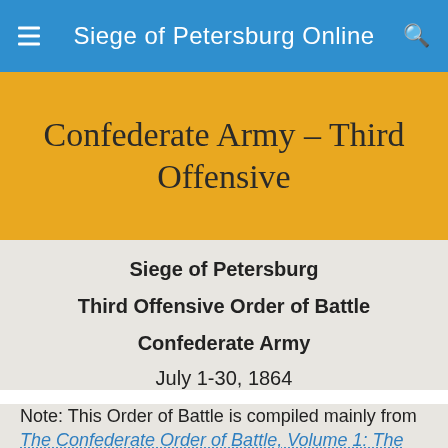Siege of Petersburg Online
Confederate Army – Third Offensive
Siege of Petersburg
Third Offensive Order of Battle
Confederate Army
July 1-30, 1864
Note: This Order of Battle is compiled mainly from The Confederate Order of Battle, Volume 1: The Army of Northern Virginia by F. Ray Sibley, Jr. unless otherwise